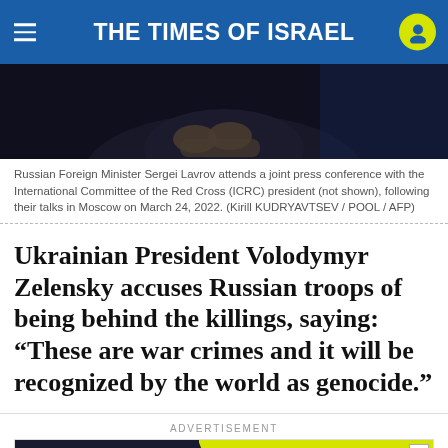THE TIMES OF ISRAEL
[Figure (photo): Russian Foreign Minister Sergei Lavrov at a joint press conference, hands visible, dark background]
Russian Foreign Minister Sergei Lavrov attends a joint press conference with the International Committee of the Red Cross (ICRC) president (not shown), following their talks in Moscow on March 24, 2022. (Kirill KUDRYAVTSEV / POOL / AFP)
Ukrainian President Volodymyr Zelensky accuses Russian troops of being behind the killings, saying: “These are war crimes and it will be recognized by the world as genocide.”
ADVERTISEMENT
[Figure (infographic): Advertisement banner: JOIN OUR COMMUNITY | Support ToI and remove ads]